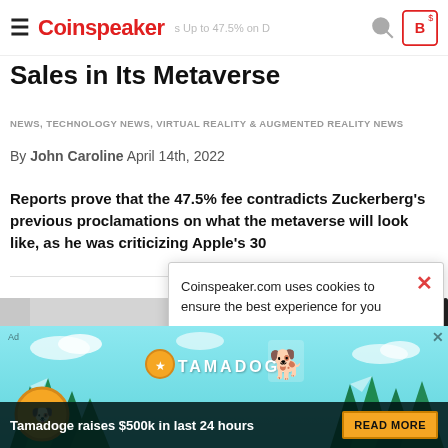Coinspeaker
Sales in Its Metaverse
NEWS, TECHNOLOGY NEWS, VIRTUAL REALITY & AUGMENTED REALITY NEWS
By John Caroline April 14th, 2022
Reports prove that the 47.5% fee contradicts Zuckerberg's previous proclamations on what the metaverse will look like, as he was criticizing Apple's 30
[Figure (screenshot): Cookie consent dialog overlay: 'Coinspeaker.com uses cookies to ensure the best experience for you' with ACCEPT button and GO TO PRIVACY POLICY link]
[Figure (photo): Partial photo of a Meta/Facebook branded surface]
[Figure (infographic): Tamadoge advertisement banner showing logo, dog character, and 'Tamadoge raises $500k in last 24 hours' with READ MORE button]